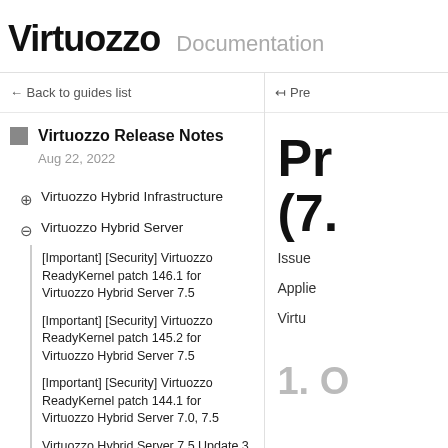Virtuozzo Documentation
← Back to guides list
Virtuozzo Release Notes
Aug 22, 2022
Virtuozzo Hybrid Infrastructure
Virtuozzo Hybrid Server
[Important] [Security] Virtuozzo ReadyKernel patch 146.1 for Virtuozzo Hybrid Server 7.5
[Important] [Security] Virtuozzo ReadyKernel patch 145.2 for Virtuozzo Hybrid Server 7.5
[Important] [Security] Virtuozzo ReadyKernel patch 144.1 for Virtuozzo Hybrid Server 7.0, 7.5
Virtuozzo Hybrid Server 7.5 Update 3 Hotfix 3 (7.5.3-409)
K Pre
Pr (7.
Issue
Applie
Virtu
1. O